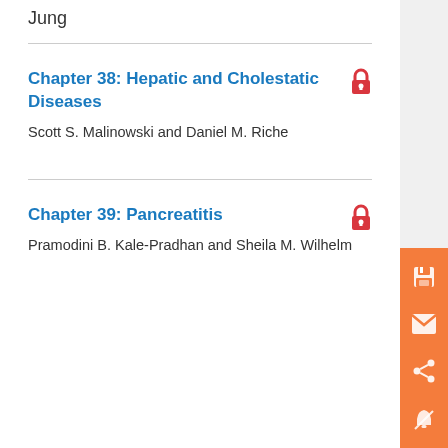Jung
Chapter 38: Hepatic and Cholestatic Diseases
Scott S. Malinowski and Daniel M. Riche
Chapter 39: Pancreatitis
Pramodini B. Kale-Pradhan and Sheila M. Wilhelm